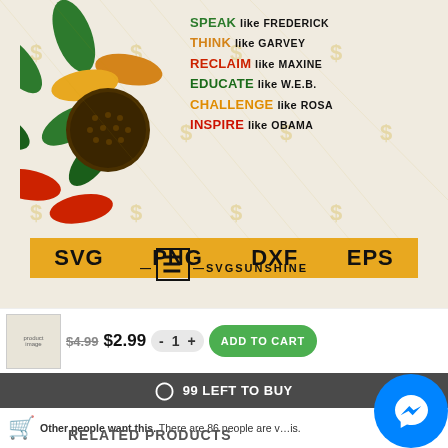[Figure (illustration): Product listing image showing a sunflower with Pan-African colored petals and motivational text lines: SPEAK like FREDERICK, THINK like GARVEY, RECLAIM like MAXINE, EDUCATE like W.E.B., CHALLENGE like ROSA, INSPIRE like OBAMA. Below the art a gold bar shows file formats: SVG PNG DXF EPS. SVGSunshine logo below.]
$4.99  $2.99  -  1  +  ADD TO CART
99 LEFT TO BUY
Other people want this. There are 86 people are viewing this.
RELATED PRODUCTS